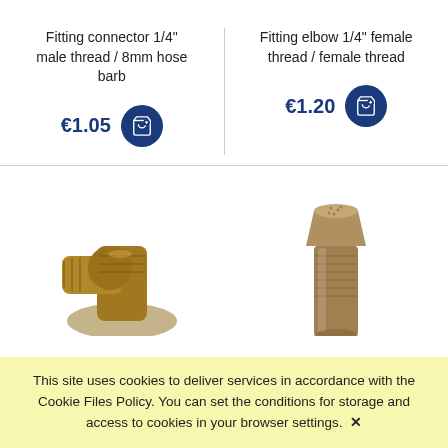Fitting connector 1/4" male thread / 8mm hose barb
€1.05
Fitting elbow 1/4" female thread / female thread
€1.20
[Figure (photo): Photo of a brass/bronze fitting connector - elbow shaped fitting]
[Figure (photo): Photo of a cylindrical threaded fitting with textured/granular top surface]
This site uses cookies to deliver services in accordance with the Cookie Files Policy. You can set the conditions for storage and access to cookies in your browser settings. ✕